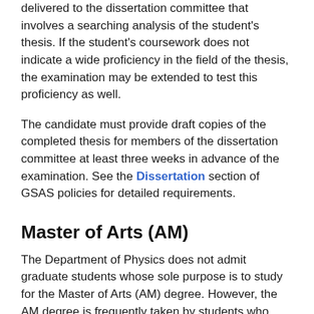delivered to the dissertation committee that involves a searching analysis of the student's thesis. If the student's coursework does not indicate a wide proficiency in the field of the thesis, the examination may be extended to test this proficiency as well.
The candidate must provide draft copies of the completed thesis for members of the dissertation committee at least three weeks in advance of the examination. See the Dissertation section of GSAS policies for detailed requirements.
Master of Arts (AM)
The Department of Physics does not admit graduate students whose sole purpose is to study for the Master of Arts (AM) degree. However, the AM degree is frequently taken by students who continue on for the PhD degree. For those who do not attain the doctorate, the AM degree attests to the completion of a full year's study beyond the bachelor's